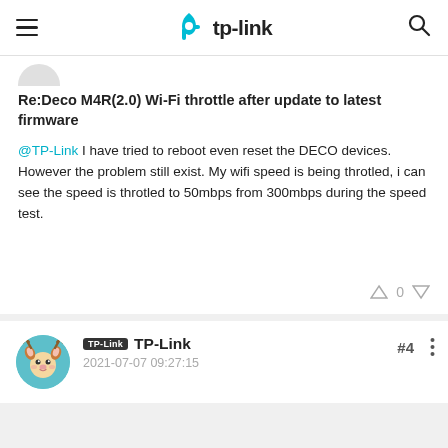tp-link
[Figure (illustration): Partial user avatar circle at top of post card]
Re:Deco M4R(2.0) Wi-Fi throttle after update to latest firmware
@TP-Link I have tried to reboot even reset the DECO devices. However the problem still exist. My wifi speed is being throtled, i can see the speed is throtled to 50mbps from 300mbps during the speed test.
[Figure (illustration): TP-Link deer mascot avatar]
TP-Link  TP-Link
2021-07-07 09:27:15
#4